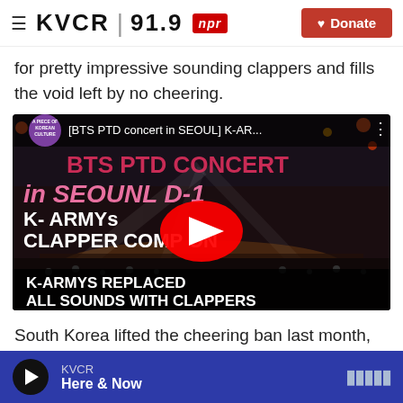≡ KVCR 91.9 npr ♥ Donate
for pretty impressive sounding clappers and fills the void left by no cheering.
[Figure (screenshot): YouTube video thumbnail showing BTS PTD concert in SEOUL with text 'K-ARMYS REPLACED ALL SOUNDS WITH CLAPPERS'. Video title bar reads '[BTS PTD concert in SEOUL] K-AR...' with YouTube play button overlay.]
South Korea lifted the cheering ban last month, and
KVCR Here & Now (audio player bar)